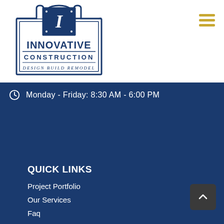[Figure (logo): Innovative Construction logo: dark navy shield/crest shape with decorative 'I' monogram at top, text 'INNOVATIVE CONSTRUCTION' and 'DESIGN BUILD REMODEL' below]
Monday - Friday: 8:30 AM - 6:00 PM
QUICK LINKS
Project Portfolio
Our Services
Faq